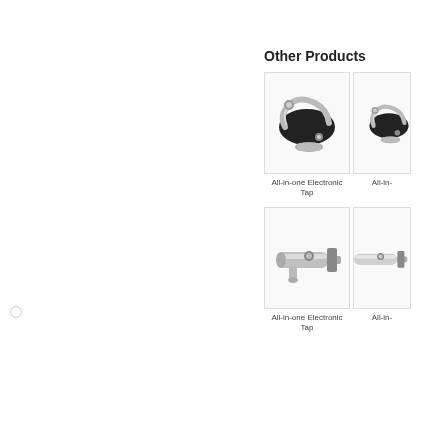Other Products
[Figure (photo): All-in-one Electronic Tap product image - sleek black and chrome faucet]
All-in-one Electronic Tap
[Figure (photo): All-in-one Electronic Tap product image - partial view]
All-in-
[Figure (photo): All-in-one Electronic Tap product image - cylindrical chrome wall-mounted tap]
All-in-one Electronic Tap
[Figure (photo): All-in-one Electronic Tap product image - partial view of chrome tap]
All-in-